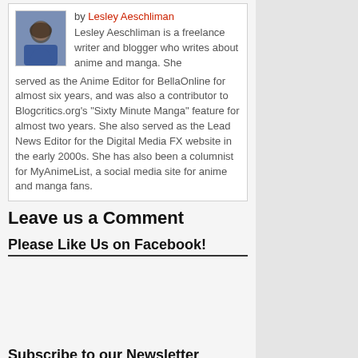by Lesley Aeschliman
Lesley Aeschliman is a freelance writer and blogger who writes about anime and manga. She served as the Anime Editor for BellaOnline for almost six years, and was also a contributor to Blogcritics.org's "Sixty Minute Manga" feature for almost two years. She also served as the Lead News Editor for the Digital Media FX website in the early 2000s. She has also been a columnist for MyAnimeList, a social media site for anime and manga fans.
Leave us a Comment
Please Like Us on Facebook!
Subscribe to our Newsletter
Email Goes Here